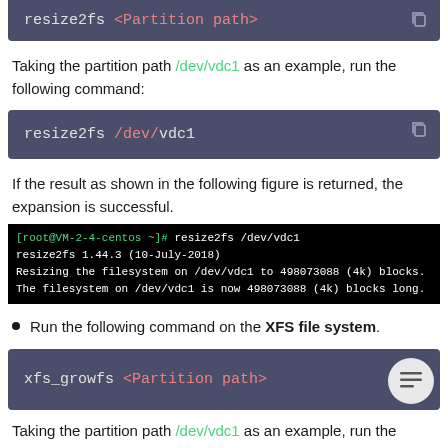[Figure (screenshot): Code block showing: resize2fs <Partition path>]
Taking the partition path /dev/vdc1 as an example, run the following command:
[Figure (screenshot): Code block showing: resize2fs /dev/vdc1]
If the result as shown in the following figure is returned, the expansion is successful.
[Figure (screenshot): Terminal output showing resize2fs command execution on /dev/vdc1]
Run the following command on the XFS file system.
[Figure (screenshot): Code block showing: xfs_growfs <Partition path>]
Taking the partition path /dev/vdc1 as an example, run the